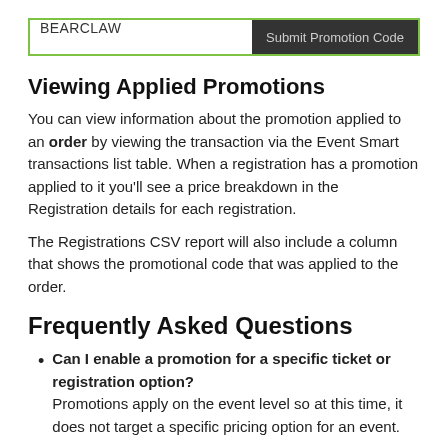[Figure (screenshot): Promotion code input field with 'BEARCLAW' typed in, and a dark 'Submit Promotion Code' button on the right. The input has a green border.]
Viewing Applied Promotions
You can view information about the promotion applied to an order by viewing the transaction via the Event Smart transactions list table. When a registration has a promotion applied to it you'll see a price breakdown in the Registration details for each registration.
The Registrations CSV report will also include a column that shows the promotional code that was applied to the order.
Frequently Asked Questions
Can I enable a promotion for a specific ticket or registration option?
Promotions apply on the event level so at this time, it does not target a specific pricing option for an event.